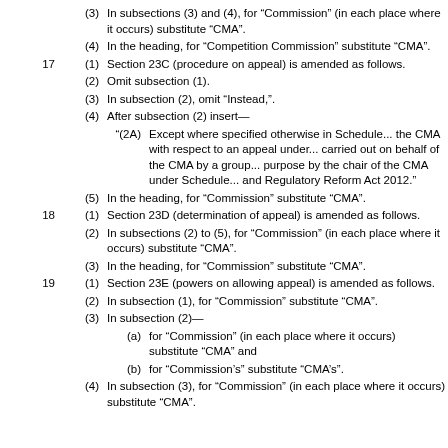(3) In subsections (3) and (4), for “Commission” (in each place where it occurs) substitute “CMA”.
(4) In the heading, for “Competition Commission” substitute “CMA”.
17 (1) Section 23C (procedure on appeal) is amended as follows.
(2) Omit subsection (1).
(3) In subsection (2), omit “Instead,”.
(4) After subsection (2) insert—
“(2A) Except where specified otherwise in Schedule... the CMA with respect to an appeal under... carried out on behalf of the CMA by a group... purpose by the chair of the CMA under Schedule... and Regulatory Reform Act 2012.”
(5) In the heading, for “Commission” substitute “CMA”.
18 (1) Section 23D (determination of appeal) is amended as follows.
(2) In subsections (2) to (5), for “Commission” (in each place where it occurs) substitute “CMA”.
(3) In the heading, for “Commission” substitute “CMA”.
19 (1) Section 23E (powers on allowing appeal) is amended as follows.
(2) In subsection (1), for “Commission” substitute “CMA”.
(3) In subsection (2)—
(a) for “Commission” (in each place where it occurs) substitute “CMA”; and
(b) for “Commission’s” substitute “CMA’s”.
(4) In subsection (3), for “Commission” (in each place where it occurs) substitute “CMA”.